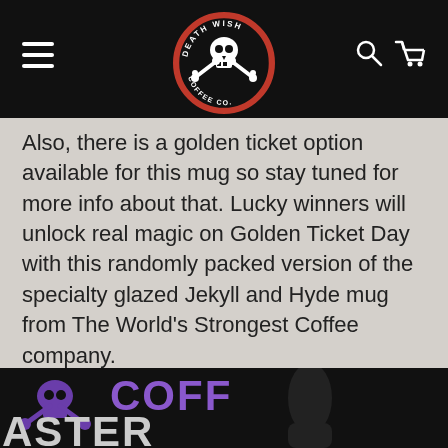Death Wish Coffee Co. navigation header with logo, hamburger menu, search and cart icons
Also, there is a golden ticket option available for this mug so stay tuned for more info about that. Lucky winners will unlock real magic on Golden Ticket Day with this randomly packed version of the specialty glazed Jekyll and Hyde mug from The World's Strongest Coffee company.
[Figure (photo): Bottom portion showing Death Wish Coffee Co. product with skull crossbones logo in purple and white text on dark background]